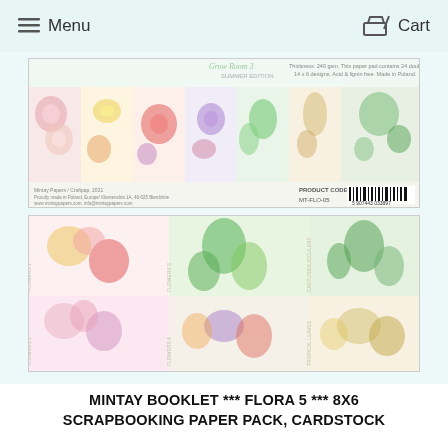Menu  |  Cart
[Figure (photo): Product packaging image showing Mintay Booklet Flora 5 scrapbooking paper pack with colorful floral and botanical designs including flowers, tropical leaves, and cacti/succulents. Top image shows the paper pack cover with multiple design strips. Bottom image shows the individual sheets spread out displaying various floral and botanical patterns.]
MINTAY BOOKLET *** FLORA 5 *** 8X6 SCRAPBOOKING PAPER PACK, CARDSTOCK